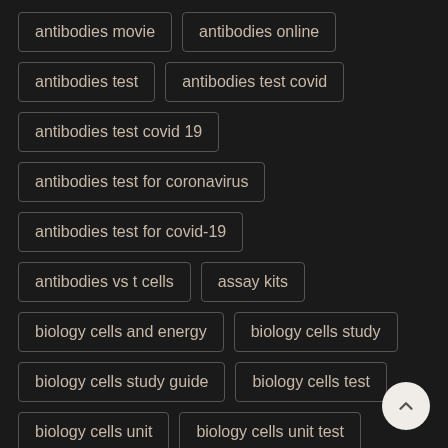antibodies movie
antibodies online
antibodies test
antibodies test covid
antibodies test covid 19
antibodies test for coronavirus
antibodies test for covid-19
antibodies vs t cells
assay kits
biology cells and energy
biology cells study
biology cells study guide
biology cells test
biology cells unit
biology cells unit test